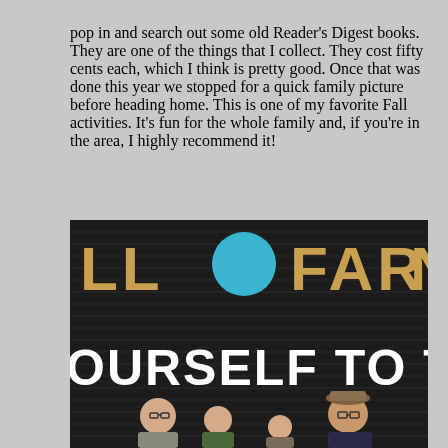pop in and search out some old Reader's Digest books. They are one of the things that I collect. They cost fifty cents each, which I think is pretty good. Once that was done this year we stopped for a quick family picture before heading home. This is one of my favorite Fall activities. It's fun for the whole family and, if you're in the area, I highly recommend it!
[Figure (photo): Family photo in front of a dark barn with sign reading 'OURSELF TO THE' and partial farm sign above, with four family members standing in front]